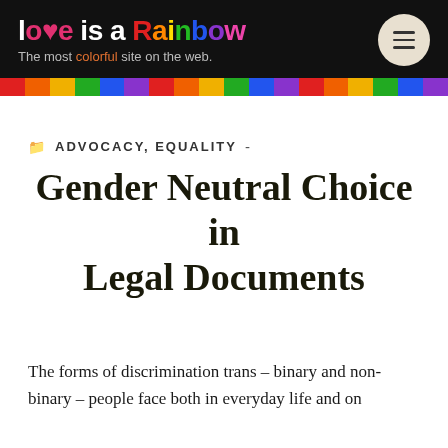love is a Rainbow – The most colorful site on the web.
ADVOCACY, EQUALITY
Gender Neutral Choice in Legal Documents
The forms of discrimination trans – binary and non-binary – people face both in everyday life and on